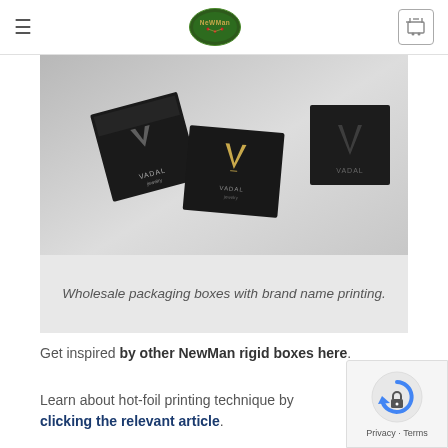NewMan logo navigation bar with hamburger menu and cart
[Figure (photo): Dark jewelry packaging boxes with gold logo imprint (VADAL jewelry brand) on light gray background. Shows three black rigid boxes — one open lid, one flat, one square — with gold foil brand printing. Watermark: newman.com.gr]
Wholesale packaging boxes with brand name printing.
Get inspired by other NewMan rigid boxes here.
Learn about hot-foil printing technique by clicking the relevant article.
[Figure (photo): Partial view of another jewelry packaging photo, bottom portion cut off. Watermark: newman.com.gr]
Privacy · Terms